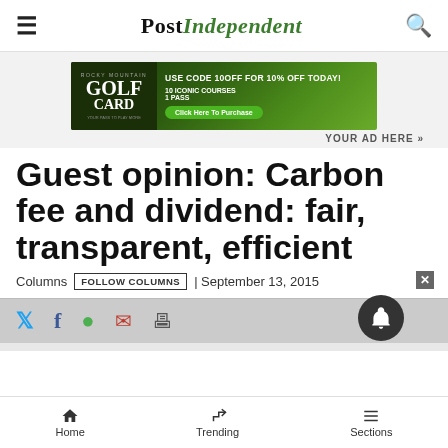Post Independent
[Figure (other): Rocky Mountain Golf Card advertisement banner: USE CODE 10OFF FOR 10% OFF TODAY! 10 ICONIC COURSES 1 PASS. Click Here To Purchase.]
YOUR AD HERE »
Guest opinion: Carbon fee and dividend: fair, transparent, efficient
Columns  FOLLOW COLUMNS  | September 13, 2015
Home  Trending  Sections